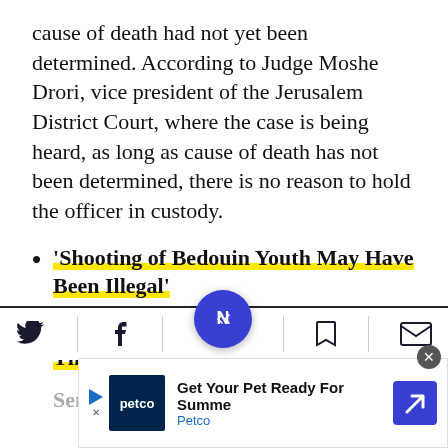cause of death had not yet been determined. According to Judge Moshe Drori, vice president of the Jerusalem District Court, where the case is being heard, as long as cause of death has not been determined, there is no reason to hold the officer in custody.
'Shooting of Bedouin Youth May Have Been Illegal'
In Rahat, Hundreds Block Road, Throw Stones at Police
[Figure (screenshot): Mobile app bottom toolbar with Twitter, Facebook, Nextdoor (center blue circle), bookmark, and mail icons. Below is a Petco advertisement banner.]